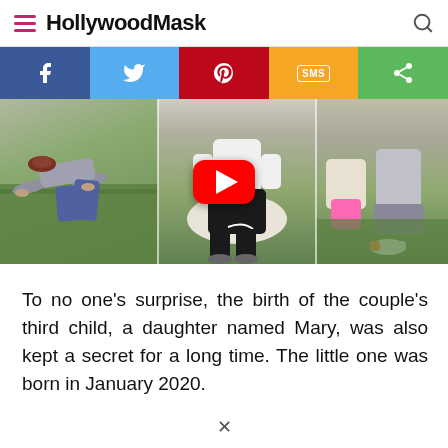HollywoodMask
[Figure (screenshot): Social media share bar with Facebook, Twitter, Pinterest, SMS, and share buttons]
[Figure (photo): Three-panel photo collage of people on grass with a YouTube play button overlay in the center]
To no one's surprise, the birth of the couple's third child, a daughter named Mary, was also kept a secret for a long time. The little one was born in January 2020.